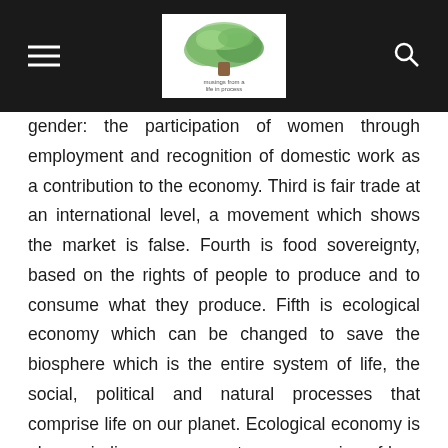[site logo and navigation]
gender: the participation of women through employment and recognition of domestic work as a contribution to the economy. Third is fair trade at an international level, a movement which shows the market is false. Fourth is food sovereignty, based on the rights of people to produce and to consume what they produce. Fifth is ecological economy which can be changed to save the biosphere which is the entire system of life, the social, political and natural processes that comprise life on our planet. Ecological economy is also an indigenous concept, an expression of how the relationship among humans and between nature and life can be harmonized, because solidarity economies look at the preservation of life. I'm not just talking about human life, but of all life, of Earth, the Cosmos. It is based on a state of interdependent coexistence with people. It recognizes that our happiness is based on that spirit: not in